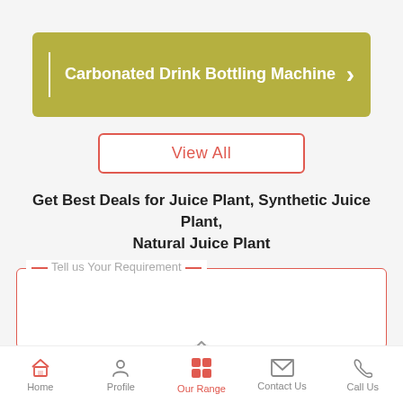[Figure (screenshot): Olive/yellow-green banner with white vertical divider line, text 'Carbonated Drink Bottling Machine' in white bold, and a white right chevron arrow on the right side]
View All
Get Best Deals for Juice Plant, Synthetic Juice Plant, Natural Juice Plant
Tell us Your Requirement
Enter Your Mobile Number
Home | Profile | Our Range | Contact Us | Call Us